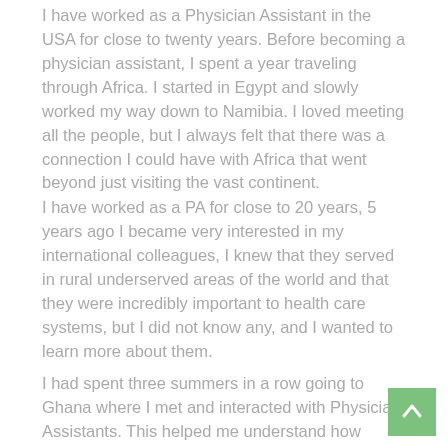I have worked as a Physician Assistant in the USA for close to twenty years. Before becoming a physician assistant, I spent a year traveling through Africa. I started in Egypt and slowly worked my way down to Namibia. I loved meeting all the people, but I always felt that there was a connection I could have with Africa that went beyond just visiting the vast continent.
I have worked as a PA for close to 20 years, 5 years ago I became very interested in my international colleagues, I knew that they served in rural underserved areas of the world and that they were incredibly important to health care systems, but I did not know any, and I wanted to learn more about them.
I had spent three summers in a row going to Ghana where I met and interacted with Physician Assistants. This helped me understand how